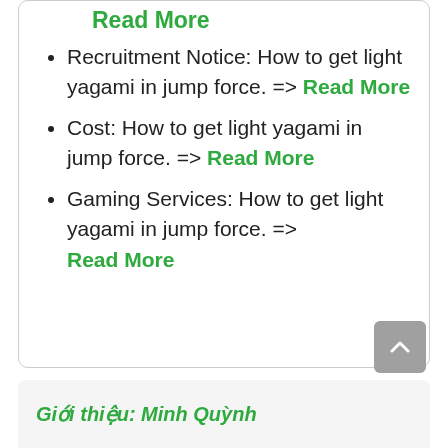Read More
Recruitment Notice: How to get light yagami in jump force. => Read More
Cost: How to get light yagami in jump force. => Read More
Gaming Services: How to get light yagami in jump force. => Read More
Giới thiệu: Minh Quỳnh